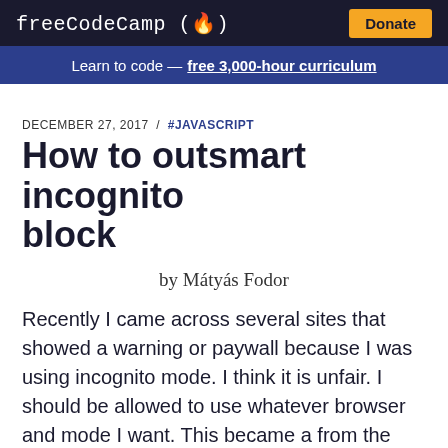freeCodeCamp (flame) Donate
Learn to code — free 3,000-hour curriculum
DECEMBER 27, 2017 / #JAVASCRIPT
How to outsmart incognito block
by Mátyás Fodor
Recently I came across several sites that showed a warning or paywall because I was using incognito mode. I think it is unfair. I should be allowed to use whatever browser and mode I want. This became a from the Internet problem.